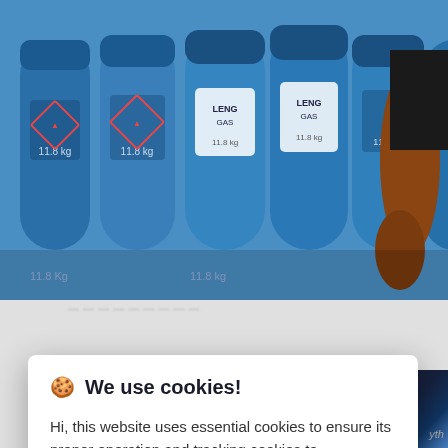[Figure (photo): Photo of blue gas/LPG cylinders with hazmat diamond labels, a person's arm visible on the right side]
Hi, this website uses essential cookies to ensure its proper operation and tracking cookies to understand how you interact with it. The latter will be set only after consent. Let me choose
Accept all
Reject all
Analysis, Outloo...